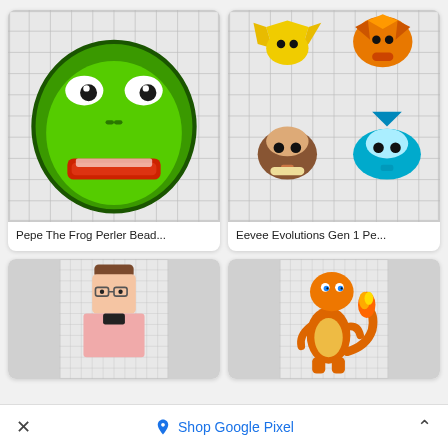[Figure (illustration): Pepe The Frog pixel art perler bead pattern on grid background - green frog face with red lips]
Pepe The Frog Perler Bead...
[Figure (illustration): Eevee Evolutions Gen 1 pixel art - four Pokemon (Jolteon, Flareon, Eevee, Vaporeon) on grid background]
Eevee Evolutions Gen 1 Pe...
[Figure (illustration): Pixel art character with glasses and brown hair on pink shirt, on grid background]
[Figure (illustration): Charmander pixel art on grid background - orange fire Pokemon with flame tail]
Shop Google Pixel